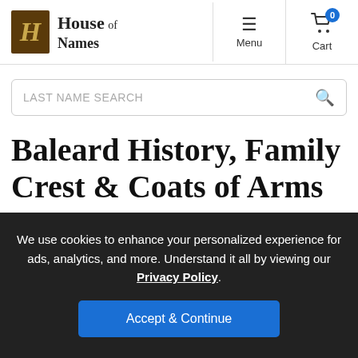House of Names — Menu — Cart (0)
LAST NAME SEARCH
Baleard History, Family Crest & Coats of Arms
Origins Available: England
We use cookies to enhance your personalized experience for ads, analytics, and more. Understand it all by viewing our Privacy Policy.
Accept & Continue